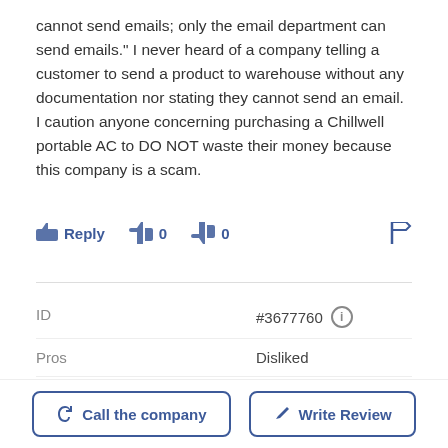cannot send emails; only the email department can send emails." I never heard of a company telling a customer to send a product to warehouse without any documentation nor stating they cannot send an email. I caution anyone concerning purchasing a Chillwell portable AC to DO NOT waste their money because this company is a scam.
Reply  0  0  [flag]
| Field | Value |
| --- | --- |
| ID | #3677760 |
| Pros | Disliked |
| Cons | Take no responsibility or things they distribute |
Call the company   Write Review